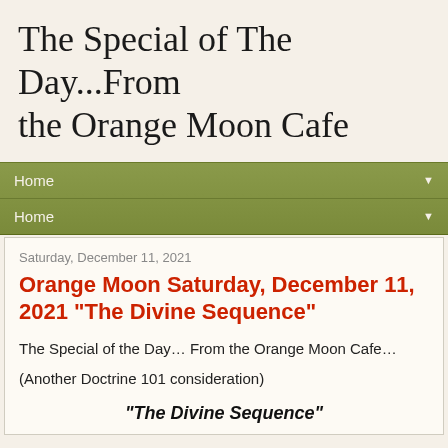The Special of The Day...From the Orange Moon Cafe
Home ▼
Home ▼
Saturday, December 11, 2021
Orange Moon Saturday, December 11, 2021 "The Divine Sequence"
The Special of the Day… From the Orange Moon Cafe…
(Another Doctrine 101 consideration)
"The Divine Sequence"